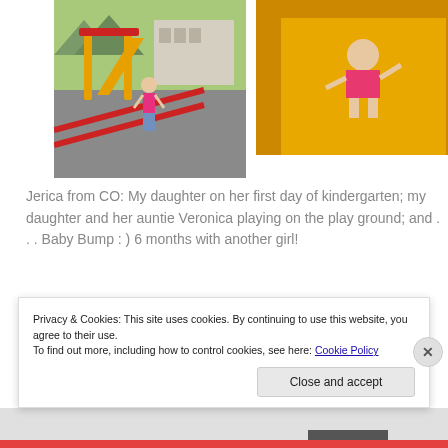[Figure (photo): Girl standing on playground equipment with slide and climbing structure outdoors]
[Figure (photo): Young child sitting in yellow plastic slide]
Jerica from CO: My daughter on her first day of kindergarten; my daughter and her auntie Veronica playing on the play ground; and . . . Baby Bump : ) 6 months with another girl!
[Figure (photo): Two interior door photos side by side]
Privacy & Cookies: This site uses cookies. By continuing to use this website, you agree to their use.
To find out more, including how to control cookies, see here: Cookie Policy
Close and accept